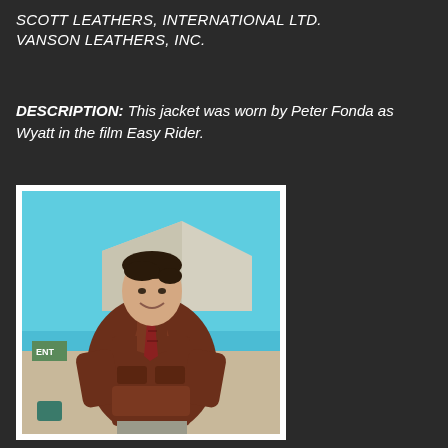SCOTT LEATHERS, INTERNATIONAL LTD.
VANSON LEATHERS, INC.
DESCRIPTION: This jacket was worn by Peter Fonda as Wyatt in the film Easy Rider.
[Figure (photo): Color photograph of a man wearing a brown leather jacket, smiling, with a light blue sky and a tent visible in the background.]